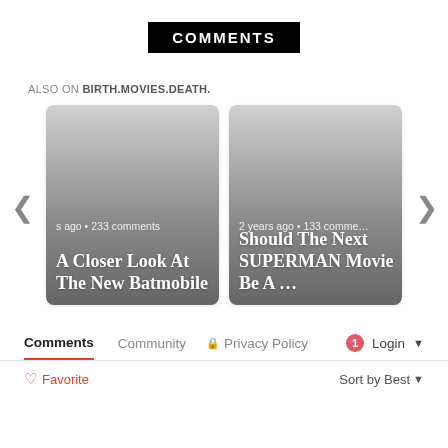COMMENTS
ALSO ON BIRTH.MOVIES.DEATH.
[Figure (screenshot): Two article preview cards in a carousel. Left card: 'A Closer Look At The New Batmobile' with '...ago • 233 comments'. Right card: 'Should The Next SUPERMAN Movie Be A ...' with '2 years ago • 133 comments'. Navigation arrows on sides.]
Comments  Community  🔒 Privacy Policy  1  Login ▾
♡ Favorite   Sort by Best ▾